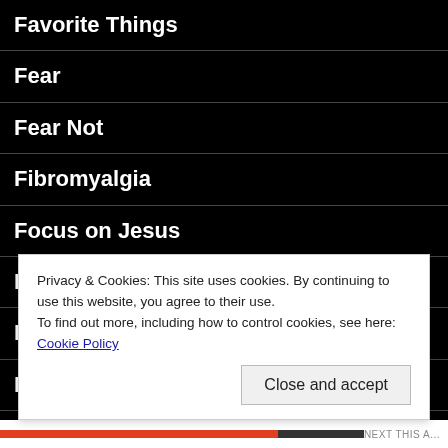Favorite Things
Fear
Fear Not
Fibromyalgia
Focus on Jesus
Forgiveness
Freedom
Fresh start
Friendship
Privacy & Cookies: This site uses cookies. By continuing to use this website, you agree to their use.
To find out more, including how to control cookies, see here: Cookie Policy
Close and accept